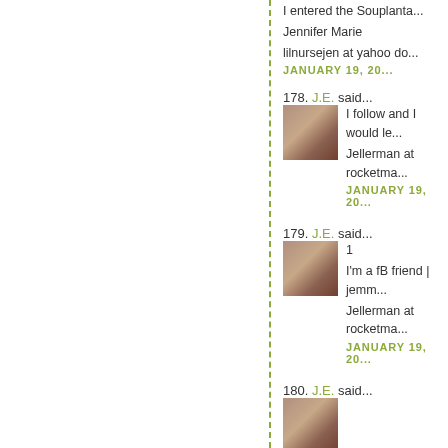I entered the Souplanta...
Jennifer Marie
lilnursejen at yahoo do...
JANUARY 19, 20...
178. J.E. said...
I follow and I would le...
Jellerman at rocketma...
JANUARY 19, 20...
179. J.E. said...
1
I'm a fB friend | jemm...
Jellerman at rocketma...
JANUARY 19, 20...
180. J.E. said...